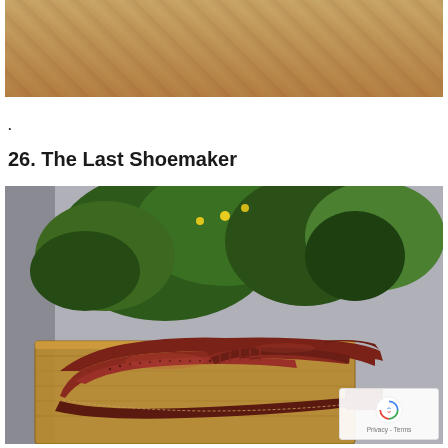[Figure (photo): Close-up photo of wood grain surface, warm brown tones, top portion of page]
.
26. The Last Shoemaker
[Figure (photo): A dark burgundy/oxblood wingtip brogue oxford leather dress shoe displayed on a wooden crate/box, with green foliage plants in the background. Professional product photography.]
[Figure (other): reCAPTCHA badge with Privacy and Terms links]